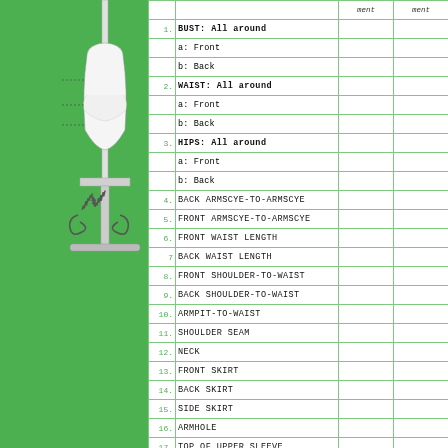[Figure (illustration): A dress form/mannequin on a stand with decorative scrollwork, positioned on the green sidebar]
| # | Measurement | ment | ment | + |
| --- | --- | --- | --- | --- |
| 1. | BUST:  All around |  |  |  |
|  | a:  Front |  |  |  |
|  | b:  Back |  |  |  |
| 2. | WAIST:  All around |  |  |  |
|  | a:  Front |  |  |  |
|  | b:  Back |  |  |  |
| 3. | HIPS:  All around |  |  |  |
|  | a:  Front |  |  |  |
|  | b:  Back |  |  |  |
| 4. | BACK  ARMSCYE-TO-ARMSCYE |  |  |  |
| 5. | FRONT  ARMSCYE-TO-ARMSCYE |  |  |  |
| 6. | FRONT  WAIST  LENGTH |  |  |  |
| 7 | BACK  WAIST  LENGTH |  |  |  |
| 8. | FRONT  SHOULDER-TO-WAIST |  |  |  |
| 9. | BACK  SHOULDER-TO-WAIST |  |  |  |
| 10. | ARMPIT-TO-WAIST |  |  |  |
| 11. | SHOULDER  SEAM |  |  |  |
| 12. | NECK |  |  |  |
| 13. | FRONT  SKIRT |  |  |  |
| 14. | BACK  SKIRT |  |  |  |
| 15. | SIDE  SKIRT |  |  |  |
| 16. | ARMHOLE |  |  |  |
| 17. | TOP  OF  UPPER  SLEEVE |  |  |  |
| 18. | TOP  OF  LOWER  SLEEVE |  |  |  |
| 19. | UNDERSIDE  OF  SLEEVE |  |  |  |
| 20. | UPPER  ARM |  |  |  |
| 21. | ELBOW |  |  |  |